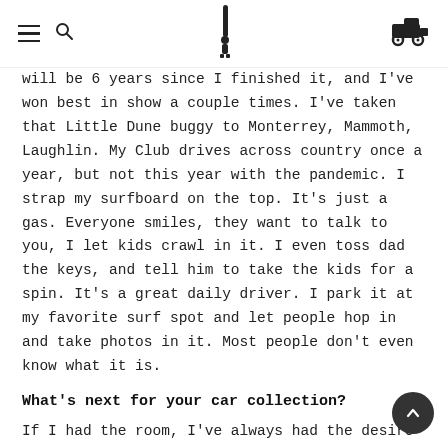[hamburger menu] [search icon] [surfboard logo/figure] [golf cart icon]
will be 6 years since I finished it, and I've won best in show a couple times. I've taken that Little Dune buggy to Monterrey, Mammoth, Laughlin. My Club drives across country once a year, but not this year with the pandemic. I strap my surfboard on the top. It's just a gas. Everyone smiles, they want to talk to you, I let kids crawl in it. I even toss dad the keys, and tell him to take the kids for a spin. It's a great daily driver. I park it at my favorite surf spot and let people hop in and take photos in it. Most people don't even know what it is.
What's next for your car collection?
If I had the room, I've always had the desire for a 1967 Chevelle Convertible 4-Speed....in Marina Blue or Butternut Yellow. Sort of epitomizes the muscle car era of a street brawl. They used to call it the street slider. Back in the in the 60s, these cars were racing stoplight to stoplight. in